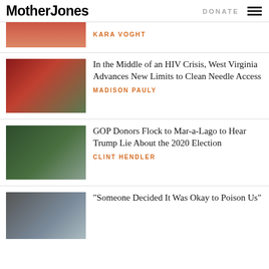Mother Jones | DONATE
[Figure (photo): Partial cropped top image, reddish tones]
KARA VOGHT
[Figure (photo): Red biohazard needle disposal box outdoors in parking lot]
In the Middle of an HIV Crisis, West Virginia Advances New Limits to Clean Needle Access
MADISON PAULY
[Figure (photo): Boats with Trump flags near Mar-a-Lago waterway with palm trees]
GOP Donors Flock to Mar-a-Lago to Hear Trump Lie About the 2020 Election
CLINT HENDLER
[Figure (photo): Oil pump jack with city skyline in background]
“Someone Decided It Was Okay to Poison Us”